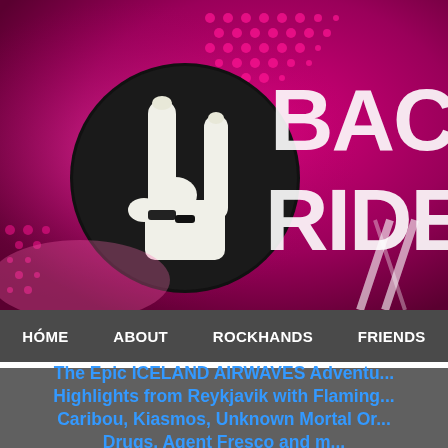[Figure (logo): Back Ride website hero banner with magenta/pink background featuring halftone dot pattern, a rock hand sign (devil horns) logo in black and white circle, and grunge text reading 'BAC RIDE' in white on the right side]
HÓME   ABOUT   ROCKHANDS   FRIENDS
The Epic ICELAND AIRWAVES Adventu... Highlights from Reykjavik with Flaming... Caribou, Kiasmos, Unknown Mortal Or... Drugs, Agent Fresco and m...